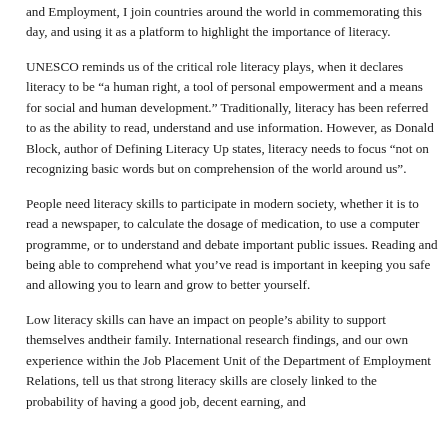and Employment, I join countries around the world in commemorating this day, and using it as a platform to highlight the importance of literacy.
UNESCO reminds us of the critical role literacy plays, when it declares literacy to be “a human right, a tool of personal empowerment and a means for social and human development.” Traditionally, literacy has been referred to as the ability to read, understand and use information. However, as Donald Block, author of Defining Literacy Up states, literacy needs to focus “not on recognizing basic words but on comprehension of the world around us”.
People need literacy skills to participate in modern society, whether it is to read a newspaper, to calculate the dosage of medication, to use a computer programme, or to understand and debate important public issues. Reading and being able to comprehend what you’ve read is important in keeping you safe and allowing you to learn and grow to better yourself.
Low literacy skills can have an impact on people’s ability to support themselves andtheir family. International research findings, and our own experience within the Job Placement Unit of the Department of Employment Relations, tell us that strong literacy skills are closely linked to the probability of having a good job, decent earning, and